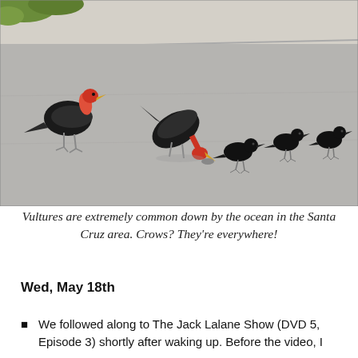[Figure (photo): Photo of vultures and crows on a grey asphalt road, with a sidewalk and green vegetation visible at the top. Two large turkey vultures (one upright, one bending down to eat) and three smaller black crows are visible on the road surface.]
Vultures are extremely common down by the ocean in the Santa Cruz area. Crows? They're everywhere!
Wed, May 18th
We followed along to The Jack Lalane Show (DVD 5, Episode 3) shortly after waking up. Before the video, I